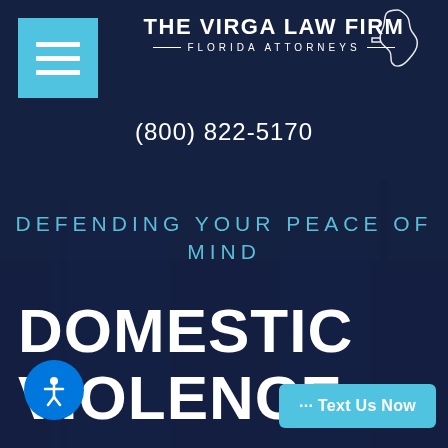[Figure (logo): The Virga Law Firm logo with Florida state outline silhouette and navigation hamburger menu on teal background]
THE VIRGA LAW FIRM
FLORIDA ATTORNEYS
(800) 822-5170
DEFENDING YOUR PEACE OF MIND
DOMESTIC VIOLENCE
[Figure (illustration): Accessibility icon button (blue circle with white person icon)]
··· Text Us Now